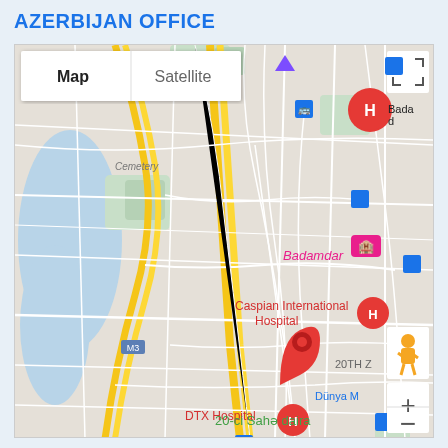AZERBIJAN OFFICE
[Figure (map): Google Maps screenshot showing Baku, Azerbaijan area with map/satellite toggle, featuring markers for Caspian International Hospital, DTX Hospital, Badamdar area, and the office location pin. Roads shown in white on grey background, with yellow highways, green parks, and blue water body visible. Zoom controls, pegman, and fullscreen button visible.]